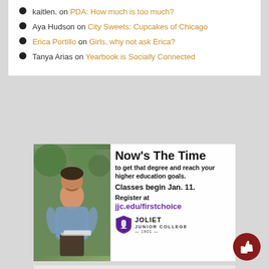kaitlen. on PDA: How much is too much?
Aya Hudson on City Sweets: Cupcakes of Chicago
Erica Portillo on Girls, why not ask Erica?
Tanya Arias on Yearbook is Socially Connected
[Figure (illustration): Advertisement for Joliet Junior College showing a smiling young male student sitting outdoors with text: Now's The Time to get that degree and reach your higher education goals. Classes begin Jan. 11. Register at jjc.edu/firstchoice. Joliet Junior College logo and shield.]
[Figure (photo): Partial second advertisement for Joliet Junior College showing bottom of image cut off with text Now's The Time partially visible]